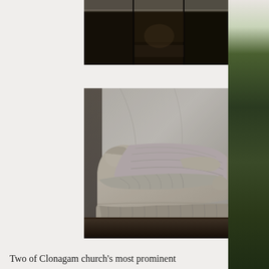[Figure (photo): Partial view of a dark interior, likely a church or old building with dark wooden paneling visible at the top of the page]
[Figure (photo): A white marble recumbent effigy sculpture of a woman lying on an ornate draped surface, displayed against a white marble wall background. The sculpture shows fine detailed carving of clothing and facial features.]
Two of Clonagam church's most prominent